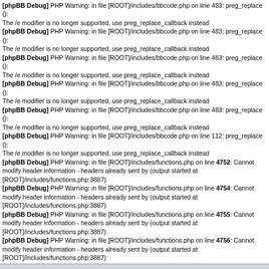[phpBB Debug] PHP Warning: in file [ROOT]/includes/bbcode.php on line [various]: preg_replace(): The /e modifier is no longer supported, use preg_replace_callback instead (repeated multiple times)
[phpBB Debug] PHP Warning: in file [ROOT]/includes/functions.php on line 4752: Cannot modify header information - headers already sent by (output started at [ROOT]/includes/functions.php:3887)
[phpBB Debug] PHP Warning: in file [ROOT]/includes/functions.php on line 4754: Cannot modify header information - headers already sent by (output started at [ROOT]/includes/functions.php:3887)
[phpBB Debug] PHP Warning: in file [ROOT]/includes/functions.php on line 4755: Cannot modify header information - headers already sent by (output started at [ROOT]/includes/functions.php:3887)
[phpBB Debug] PHP Warning: in file [ROOT]/includes/functions.php on line 4756: Cannot modify header information - headers already sent by (output started at [ROOT]/includes/functions.php:3887)
[Figure (logo): River Twine Forums logo with stylized text and feather/leaf graphic]
River Twine Holt Forums
A Gathering Place for River Twine Holt
Login   FAQ   Search